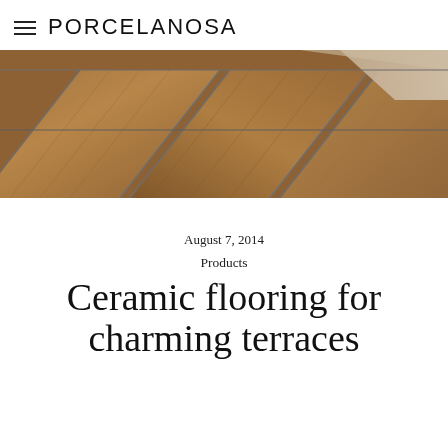PORCELANOSA
[Figure (photo): Close-up photo of wood-look ceramic floor tiles arranged in a herringbone/diagonal pattern, warm brown tones]
August 7, 2014
Products
Ceramic flooring for charming terraces